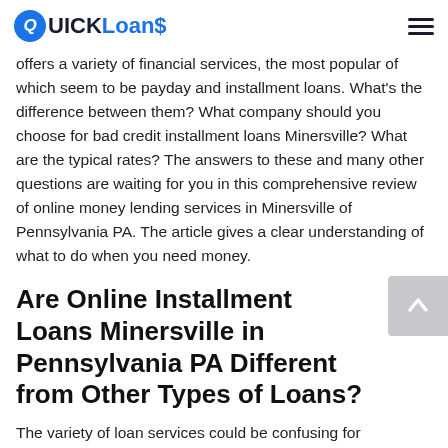Quick Loans
offers a variety of financial services, the most popular of which seem to be payday and installment loans. What's the difference between them? What company should you choose for bad credit installment loans Minersville? What are the typical rates? The answers to these and many other questions are waiting for you in this comprehensive review of online money lending services in Minersville of Pennsylvania PA. The article gives a clear understanding of what to do when you need money.
Are Online Installment Loans Minersville in Pennsylvania PA Different from Other Types of Loans?
The variety of loan services could be confusing for customers, especially if it's their first experience with online loans. We're going to clarify in what ways Minersville